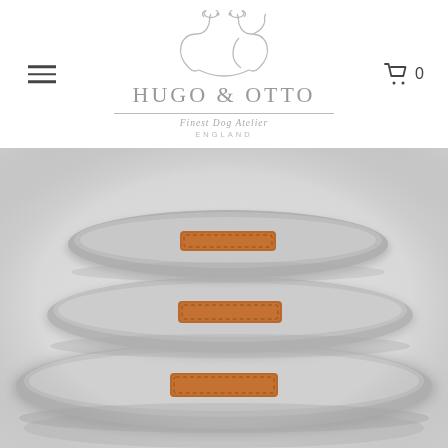[Figure (logo): Hugo & Otto logo with two dog silhouettes, brand name, tagline 'Finest Dog Atelier' and 'ENGLAND']
[Figure (photo): Three stacked oval/bolster grey dog beds with brown leather label patches, photographed on a light background, slightly blurred/out of focus style]